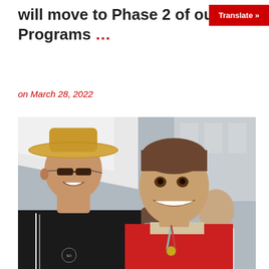will move to Phase 2 of our Sp… Programs …
Translate »
on March 28, 2022
[Figure (photo): Two men smiling at an outdoor event. The man on the left wears a straw cowboy hat, sunglasses, and a black polo shirt. The man on the right wears a red athletic vest and has a medal around his neck. A third man in a white shirt is visible in the background on the right.]